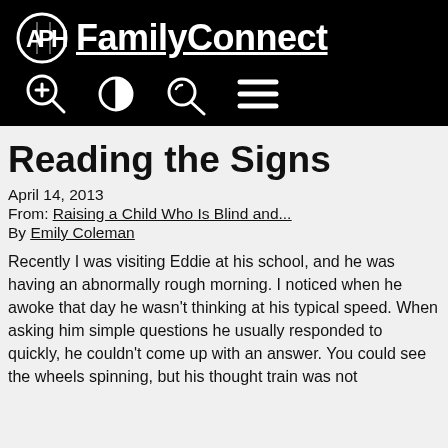APH FamilyConnect
Reading the Signs
April 14, 2013
From: Raising a Child Who Is Blind and...
By Emily Coleman
Recently I was visiting Eddie at his school, and he was having an abnormally rough morning. I noticed when he awoke that day he wasn't thinking at his typical speed. When asking him simple questions he usually responded to quickly, he couldn't come up with an answer. You could see the wheels spinning, but his thought train was not